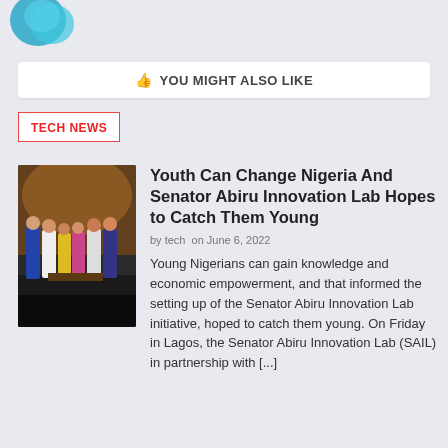[Figure (logo): Partial blue and teal circular logo at top left]
YOU MIGHT ALSO LIKE
TECH NEWS
[Figure (photo): Group of people standing on a stage at an event]
Youth Can Change Nigeria And Senator Abiru Innovation Lab Hopes to Catch Them Young
by tech  on June 6, 2022
Young Nigerians can gain knowledge and economic empowerment, and that informed the setting up of the Senator Abiru Innovation Lab initiative, hoped to catch them young. On Friday in Lagos, the Senator Abiru Innovation Lab (SAIL) in partnership with [...]